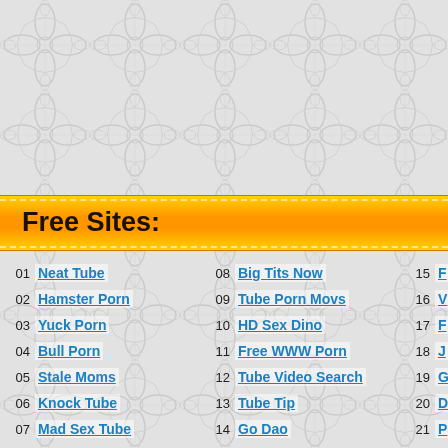Free Sites:
01 Neat Tube
02 Hamster Porn
03 Yuck Porn
04 Bull Porn
05 Stale Moms
06 Knock Tube
07 Mad Sex Tube
08 Big Tits Now
09 Tube Porn Movs
10 HD Sex Dino
11 Free WWW Porn
12 Tube Video Search
13 Tube Tip
14 Go Dao
15 F…
16 V…
17 F…
18 J…
19 G…
20 D…
21 P…